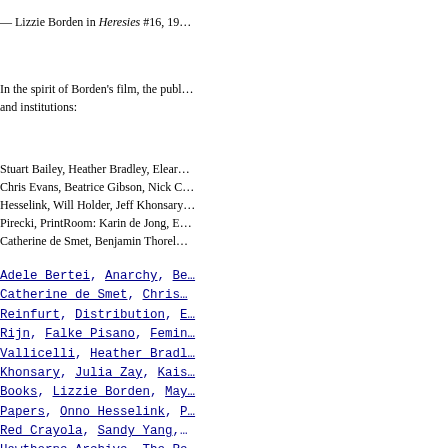— Lizzie Borden in Heresies #16, 19…
In the spirit of Borden's film, the publ… and institutions:
Stuart Bailey, Heather Bradley, Elear… Chris Evans, Beatrice Gibson, Nick C… Hesselink, Will Holder, Jeff Khonsary… Pirecki, PrintRoom: Karin de Jong, E… Catherine de Smet, Benjamin Thorel…
Adele Bertei, Anarchy, Be… Catherine de Smet, Chris… Reinfurt, Distribution, E… Rijn, Falke Pisano, Femin… Vallicelli, Heather Bradl… Khonsary, Julia Zay, Kais… Books, Lizzie Borden, May… Papers, Onno Hesselink, P… Red Crayola, Sandy Yang, … Hawthorne Archive, The Re… Will Holder
……………………………………………………………………………………………………………………………………………………………